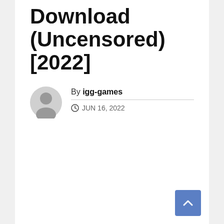Xenotake Crack Free Download (Uncensored) [2022]
By igg-games
JUN 16, 2022